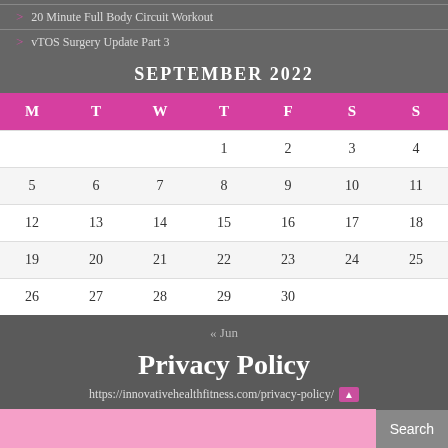20 Minute Full Body Circuit Workout
vTOS Surgery Update Part 3
SEPTEMBER 2022
| M | T | W | T | F | S | S |
| --- | --- | --- | --- | --- | --- | --- |
|  |  |  | 1 | 2 | 3 | 4 |
| 5 | 6 | 7 | 8 | 9 | 10 | 11 |
| 12 | 13 | 14 | 15 | 16 | 17 | 18 |
| 19 | 20 | 21 | 22 | 23 | 24 | 25 |
| 26 | 27 | 28 | 29 | 30 |  |  |
« Jun
Privacy Policy
https://innovativehealthfitness.com/privacy-policy/